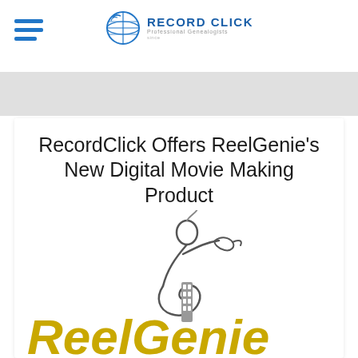[Figure (logo): Record Click Professional Genealogists logo with globe icon]
RecordClick Offers ReelGenie's New Digital Movie Making Product
[Figure (logo): ReelGenie logo featuring a stylized film-reel genie figure with gold text reading 'ReelGenie']